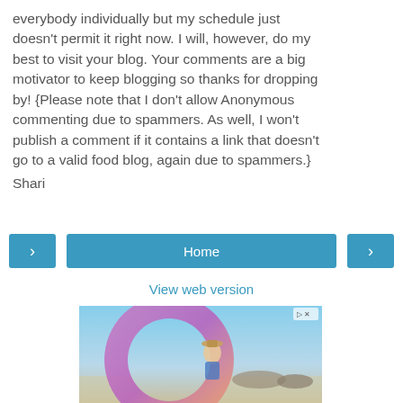everybody individually but my schedule just doesn't permit it right now. I will, however, do my best to visit your blog. Your comments are a big motivator to keep blogging so thanks for dropping by! {Please note that I don't allow Anonymous commenting due to spammers. As well, I won't publish a comment if it contains a link that doesn't go to a valid food blog, again due to spammers.}
Shari
[Figure (other): Navigation bar with left arrow button, Home button, and right arrow button, all in teal/blue color]
View web version
[Figure (photo): Advertisement image showing a woman in a hat at a beach with a purple/pink circular ring graphic overlay, with ad controls (play icon and X) in the top right]